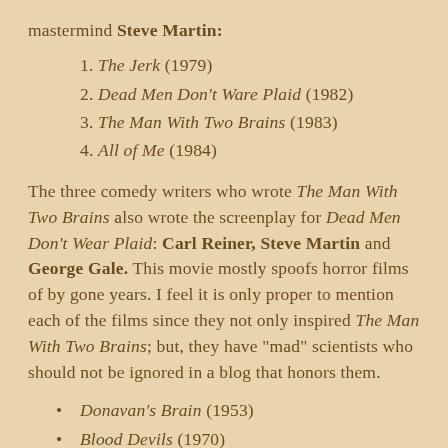mastermind Steve Martin:
1. The Jerk (1979)
2. Dead Men Don't Ware Plaid (1982)
3. The Man With Two Brains (1983)
4. All of Me (1984)
The three comedy writers who wrote The Man With Two Brains also wrote the screenplay for Dead Men Don't Wear Plaid: Carl Reiner, Steve Martin and George Gale. This movie mostly spoofs horror films of by gone years. I feel it is only proper to mention each of the films since they not only inspired The Man With Two Brains; but, they have "mad" scientists who should not be ignored in a blog that honors them.
Donavan's Brain (1953)
Blood Devils (1970)
They Saved Hitler's Brian (1968)